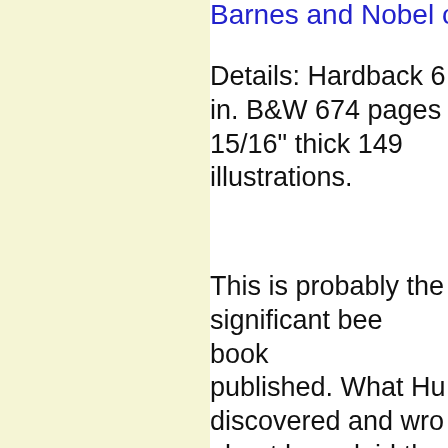[Figure (other): Left panel with light yellow/cream background, likely a book cover image area]
Barnes and Nobel …
Details: Hardback 6 in. B&W 674 pages 15/16" thick 149 illustrations.
This is probably the significant bee book published. What Hu discovered and wro about here, laid the ground work for all practical knowledge have of bees today.